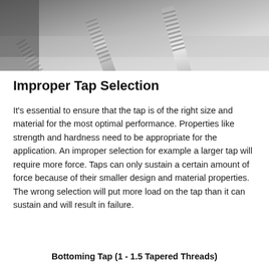[Figure (photo): Close-up photograph of multiple metallic taps (threading tools) with spiral flutes, shown at an angle on a light background.]
Improper Tap Selection
It's essential to ensure that the tap is of the right size and material for the most optimal performance. Properties like strength and hardness need to be appropriate for the application. An improper selection for example a larger tap will require more force. Taps can only sustain a certain amount of force because of their smaller design and material properties. The wrong selection will put more load on the tap than it can sustain and will result in failure.
Bottoming Tap (1 - 1.5 Tapered Threads)